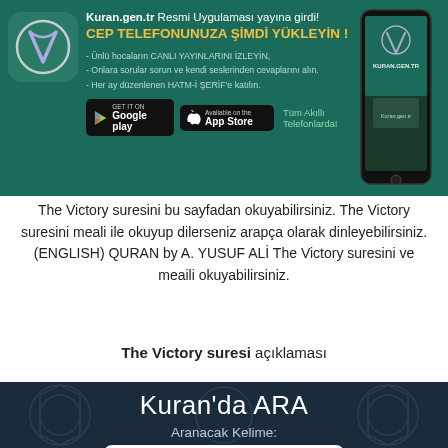[Figure (infographic): Mobile app advertisement banner for Kuran.gen.tr with teal background, app icon, phone image, store buttons, and promotional text in Turkish]
The Victory suresini bu sayfadan okuyabilirsiniz. The Victory suresini meali ile okuyup dilerseniz arapça olarak dinleyebilirsiniz. (ENGLISH) QURAN by A. YUSUF ALİ The Victory suresini ve meaili okuyabilirsiniz.
The Victory suresi açıklaması
Kuran'da ARA
Aranacak Kelime:
namaz
Meal Seç:
TÜRKÇE - DİYANET MEALİ